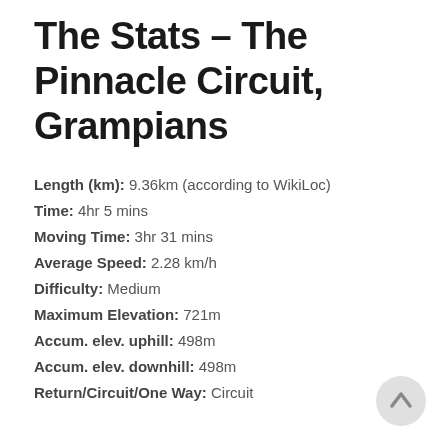The Stats – The Pinnacle Circuit, Grampians
Length (km): 9.36km (according to WikiLoc)
Time: 4hr 5 mins
Moving Time: 3hr 31 mins
Average Speed: 2.28 km/h
Difficulty: Medium
Maximum Elevation: 721m
Accum. elev. uphill: 498m
Accum. elev. downhill: 498m
Return/Circuit/One Way: Circuit